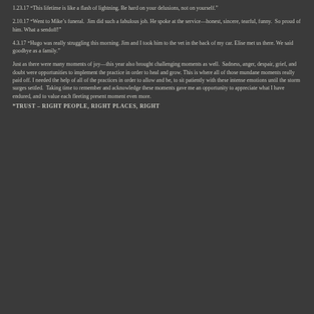1.23.17 “This lifetime is like a flash of lightning. Be hard on your delusions, not on yourself.”
2.10.17 “Went to Mike’s funeral.  Jim did such a fabulous job. He spoke at the service—honest, sincere, tearful, funny.  So proud of him. What a sendoff!”
4.3.17 “Hugo was really struggling this morning. Jim and I took him to the vet in the back of my car. Elise met us there. We said goodbye as a family.”
Just as there were many moments of joy—this year also brought challenging moments as well.  Sadness, anger, despair, grief, and doubt were opportunities to implement the practice in order to heal and grow. This is where all of those mundane moments really paid off. I needed the help of all of the practices in order to allow and be, to sit patiently with these intense emotions until the storm surges settled.  Taking time to remember and acknowledge these moments gave me an opportunity to appreciate what I have endured, and to value each fleeting present moment even more.
*TRUST – RIGHT PEOPLE, RIGHT PLACES, RIGHT